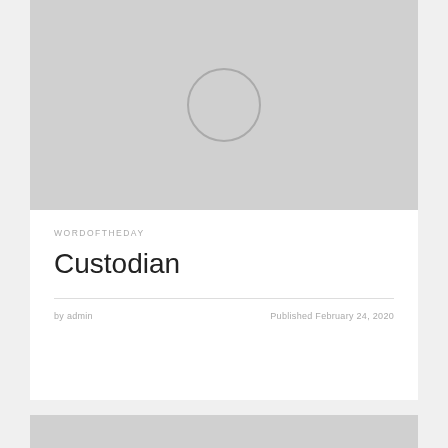[Figure (photo): Gray placeholder image with a circle outline in the center, representing a featured image for a blog post]
WORDOFTHEDAY
Custodian
by admin    Published February 24, 2020
[Figure (photo): Gray placeholder image at the bottom of the page]